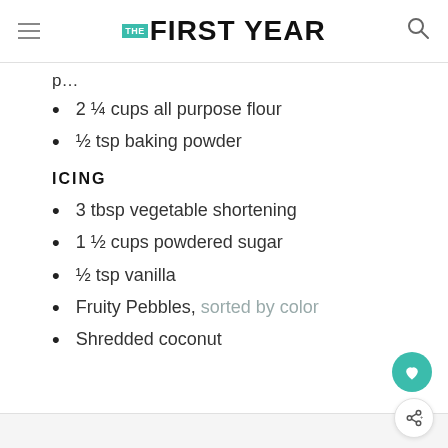THE FIRST YEAR
2 ¼ cups all purpose flour
½ tsp baking powder
ICING
3 tbsp vegetable shortening
1 ½ cups powdered sugar
½ tsp vanilla
Fruity Pebbles, sorted by color
Shredded coconut